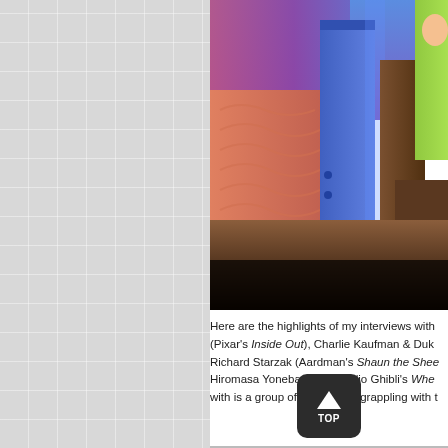[Figure (photo): A colorful animated scene from Pixar's Inside Out showing a bedroom interior with file-folder-like structures illuminated in purple and blue tones, with a green-shirted character visible on the right.]
Here are the highlights of my interviews with (Pixar's Inside Out), Charlie Kaufman & Duk Richard Starzak (Aardman's Shaun the Shee Hiromasa Yonebayashi (Studio Ghibli's Whe with is a group of contenders grappling with t